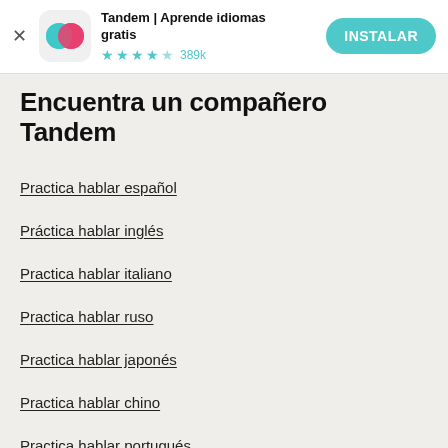[Figure (screenshot): App store banner for Tandem app with icon, name, star rating, and install button]
Encuentra un compañero Tandem
Practica hablar español
Práctica hablar inglés
Practica hablar italiano
Practica hablar ruso
Practica hablar japonés
Practica hablar chino
Practica hablar portugués
Practica hablar francés